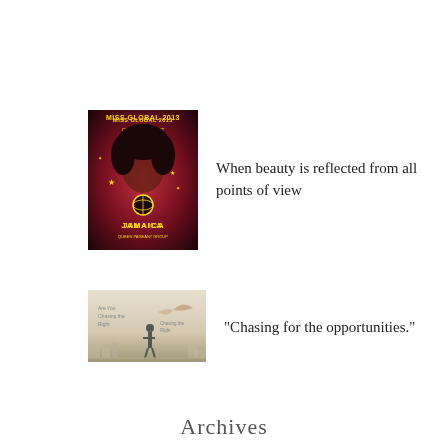[Figure (photo): Thumbnail image of Miss Global 2013 Jamaica beauty pageant contestant]
When beauty is reflected from all points of view
[Figure (photo): Thumbnail image of a person chasing opportunities, silhouette against sky]
"Chasing for the opportunities."
Archives